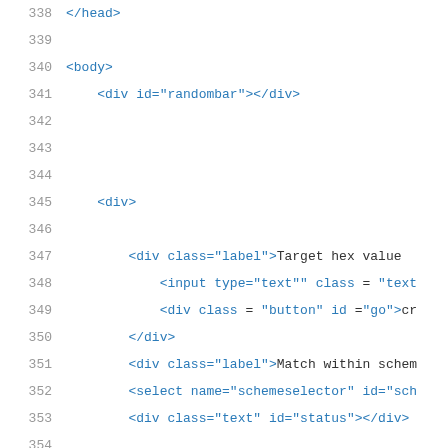338   </head>
339
340   <body>
341       <div id="randombar"></div>
342
343
344
345       <div>
346
347           <div class="label">Target hex value
348               <input type="text"" class = "text
349               <div class = "button" id ="go">cr
350           </div>
351           <div class="label">Match within schem
352           <select name="schemeselector" id="sch
353           <div class="text" id="status"></div>
354
355       </div>
356
357       <div id="show" style="width:100%;"></div>
358
359   </body>